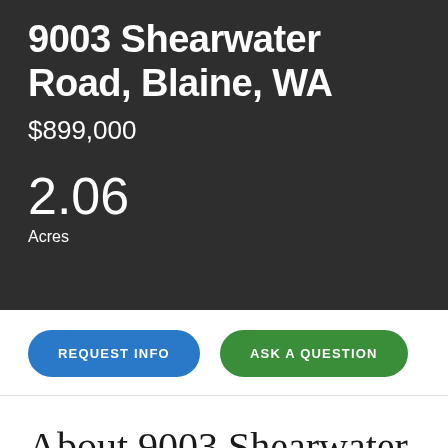9003 Shearwater Road, Blaine, WA
$899,000
2.06
Acres
REQUEST INFO
ASK A QUESTION
About 9003 Shearwater Road